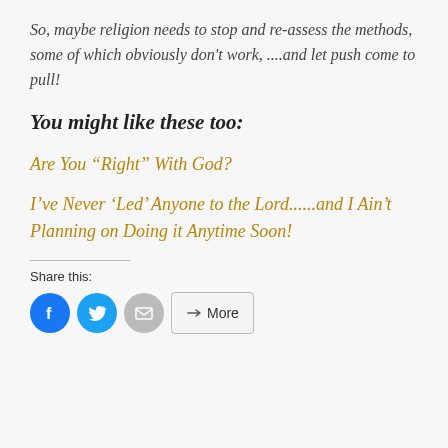So, maybe religion needs to stop and re-assess the methods, some of which obviously don't work, ....and let push come to pull!
You might like these too:
Are You “Right” With God?
I’ve Never ‘Led’ Anyone to the Lord......and I Ain’t Planning on Doing it Anytime Soon!
Share this: